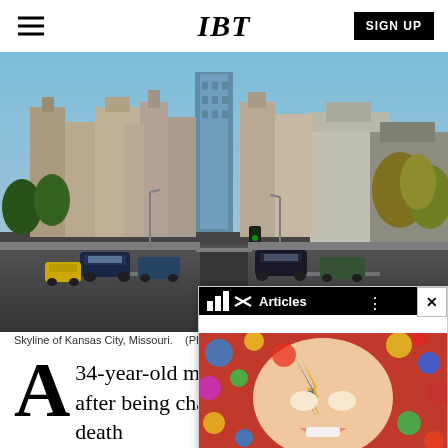IBT
[Figure (photo): Skyline of Kansas City, Missouri - a wide boulevard with cars and tall buildings visible in the background, trees on the right, taken on a clear day.]
Skyline of Kansas City, Missouri. (PH...
A 34-year-old man will after being charged with the hit-and-run death of a teenage boy outside the Somali Center of